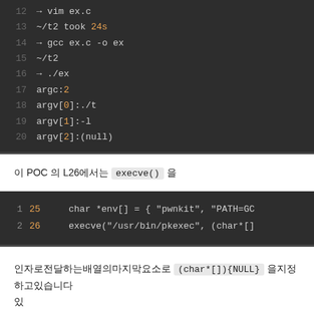[Figure (screenshot): Code block showing terminal/shell session lines 12-20 with commands and output on dark background]
이 POC 의 L26에서는 execve() 을
[Figure (screenshot): Code block showing lines 25-26 with char *env[] and execve call on dark background]
인자로전달하는배열의마지막요소로 (char*[]){NULL} 을지정하고있습니다